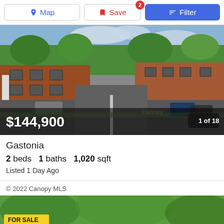[Figure (screenshot): Navigation bar with Map, Save (badge 2), and Filter buttons]
[Figure (photo): Exterior photo of a brick apartment complex with parking lot and trees, price overlay $144,900 and '1 of 18' counter]
Gastonia
2 beds   1 baths   1,020 sqft
Listed 1 Day Ago
© 2022 Canopy MLS
[Figure (photo): Partial bottom photo showing trees and a yellow sign element]